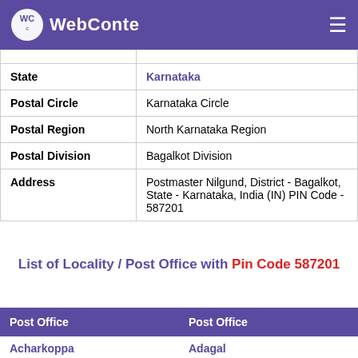WebConte
|  |  |
| --- | --- |
| State | Karnataka |
| Postal Circle | Karnataka Circle |
| Postal Region | North Karnataka Region |
| Postal Division | Bagalkot Division |
| Address | Postmaster Nilgund, District - Bagalkot, State - Karnataka, India (IN) PIN Code - 587201 |
List of Locality / Post Office with Pin Code 587201
| Post Office | Post Office |
| --- | --- |
| Acharkoppa | Adagal |